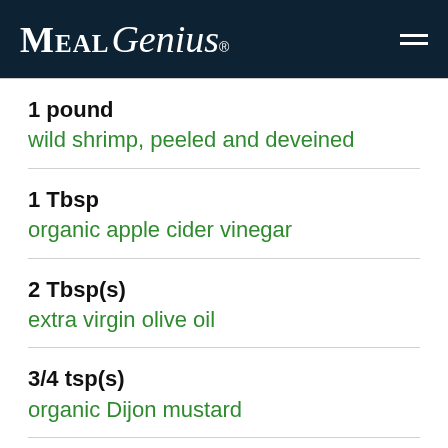MealGenius®
1 pound
wild shrimp, peeled and deveined
1 Tbsp
organic apple cider vinegar
2 Tbsp(s)
extra virgin olive oil
3/4 tsp(s)
organic Dijon mustard
Preparation